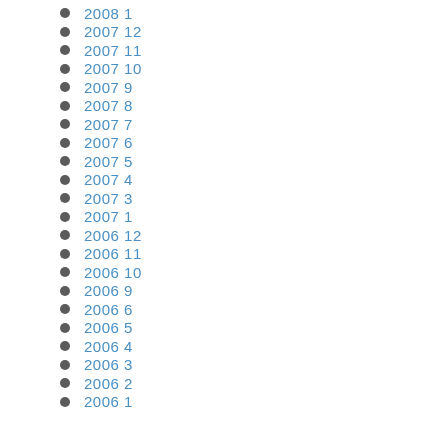2008  1
2007  12
2007  11
2007  10
2007  9
2007  8
2007  7
2007  6
2007  5
2007  4
2007  3
2007  1
2006  12
2006  11
2006  10
2006  9
2006  6
2006  5
2006  4
2006  3
2006  2
2006  1